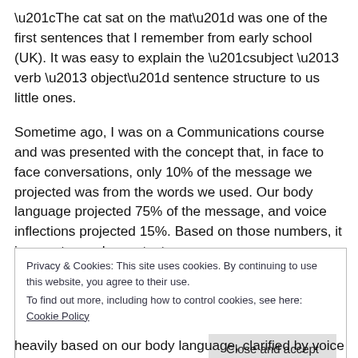“The cat sat on the mat” was one of the first sentences that I remember from early school (UK). It was easy to explain the “subject – verb – object” sentence structure to us little ones.
Sometime ago, I was on a Communications course and was presented with the concept that, in face to face conversations, only 10% of the message we projected was from the words we used. Our body language projected 75% of the message, and voice inflections projected 15%. Based on those numbers, it is easy to see how a text
Privacy & Cookies: This site uses cookies. By continuing to use this website, you agree to their use.
To find out more, including how to control cookies, see here: Cookie Policy
heavily based on our body language, clarified by voice